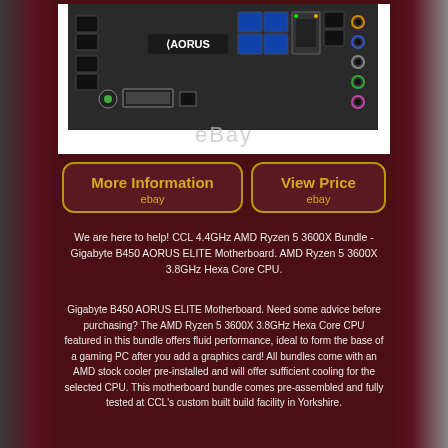[Figure (photo): Gigabyte AORUS motherboard I/O panel photo with eBay watermark]
[Figure (other): More Information button linking to eBay]
[Figure (other): View Price button linking to eBay]
We are here to help! CCL 4.4GHz AMD Ryzen 5 3600X Bundle - Gigabyte B450 AORUS ELITE Motherboard. AMD Ryzen 5 3600X 3.8GHz Hexa Core CPU.
Gigabyte B450 AORUS ELITE Motherboard. Need some advice before purchasing? The AMD Ryzen 5 3600X 3.8GHz Hexa Core CPU featured in this bundle offers fluid performance, ideal to form the base of a gaming PC after you add a graphics card! All bundles come with an AMD stock cooler pre-installed and will offer sufficient cooling for the selected CPU. This motherboard bundle comes pre-assembled and fully tested at CCL's custom built build facility in Yorkshire.